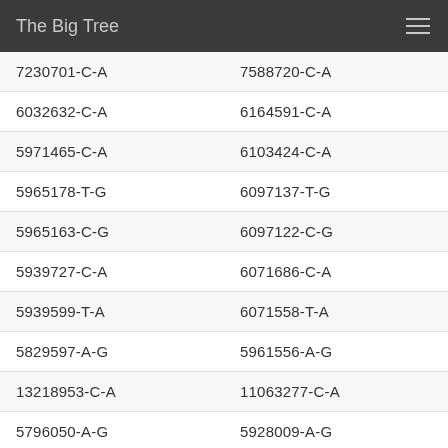The Big Tree
| 7230701-C-A | 7588720-C-A |
| 6032632-C-A | 6164591-C-A |
| 5971465-C-A | 6103424-C-A |
| 5965178-T-G | 6097137-T-G |
| 5965163-C-G | 6097122-C-G |
| 5939727-C-A | 6071686-C-A |
| 5939599-T-A | 6071558-T-A |
| 5829597-A-G | 5961556-A-G |
| 13218953-C-A | 11063277-C-A |
| 5796050-A-G | 5928009-A-G |
| 5786943-A-T | 5918902-A-T |